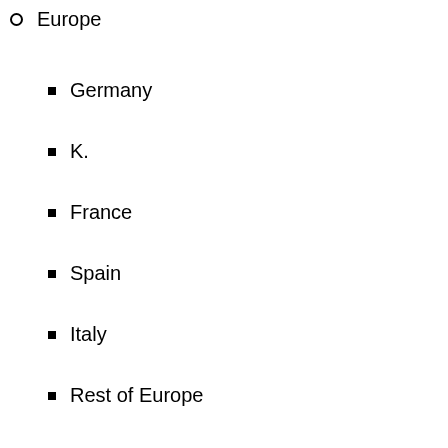Europe
Germany
K.
France
Spain
Italy
Rest of Europe